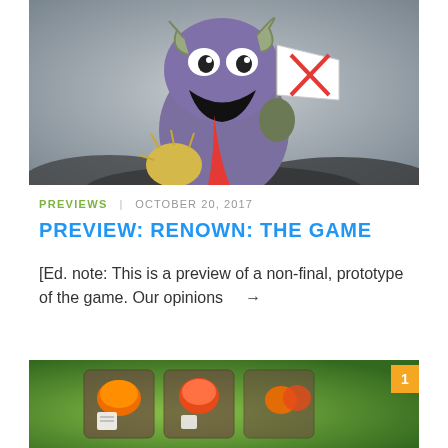[Figure (illustration): Cartoon illustration of a fantasy creature — a purple toad/frog-like monster with ram horns, open mouth with red tongue out, holding a white flag with a red X, and a spiked yellow creature at its feet. Background is grey/misty.]
PREVIEWS | OCTOBER 20, 2017
PREVIEW: RENOWN: THE GAME
[Ed. note: This is a preview of a non-final, prototype of the game. Our opinions →
[Figure (photo): Photo of a board game in progress showing orange and red game pieces/cards on a green illustrated board. A yellow/orange badge with the number 1 appears in the top-right corner of the image.]